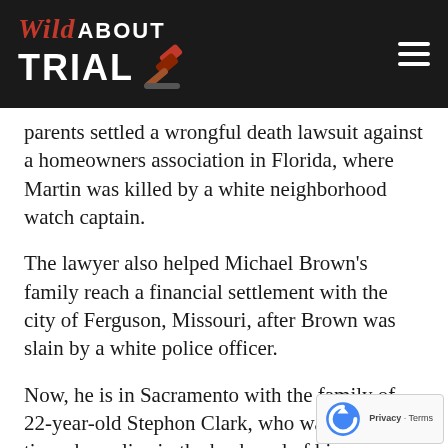[Figure (logo): Wild About Trial logo with gavel icon on dark background, and hamburger menu icon on the right]
parents settled a wrongful death lawsuit against a homeowners association in Florida, where Martin was killed by a white neighborhood watch captain.
The lawyer also helped Michael Brown's family reach a financial settlement with the city of Ferguson, Missouri, after Brown was slain by a white police officer.
Now, he is in Sacramento with the family of 22-year-old Stephon Clark, who was shot eight times by police in the backyard of his grandparents' home.
The officers were responding to a report of someone breaking car windows and opened ...